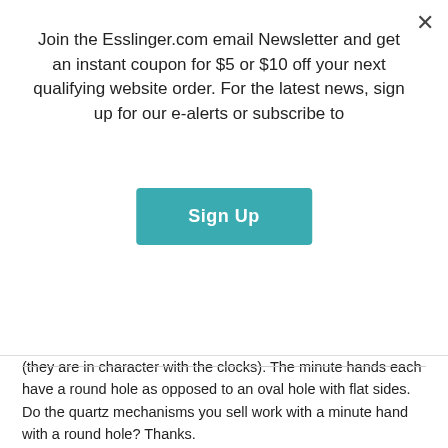Join the Esslinger.com email Newsletter and get an instant coupon for $5 or $10 off your next qualifying website order. For the latest news, sign up for our e-alerts or subscribe to
Sign Up
(they are in character with the clocks). The minute hands each have a round hole as opposed to an oval hole with flat sides. Do the quartz mechanisms you sell work with a minute hand with a round hole? Thanks.
June 8, 2022
Esslinger Staff
Reply
[Figure (illustration): Gray placeholder avatar icon showing a person silhouette]
Unfortunately we do not carry any clock movements that